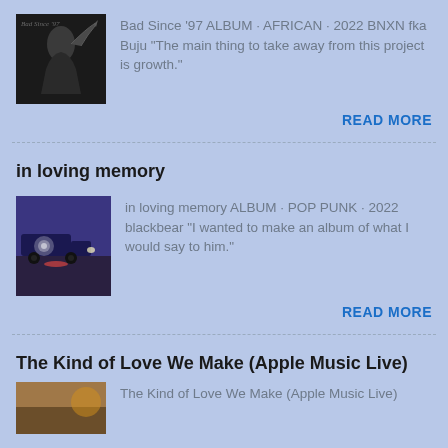[Figure (photo): Black and white album art for Bad Since '97 by BNXN fka Buju, showing a figure with raised hand]
Bad Since '97 ALBUM · AFRICAN · 2022 BNXN fka Buju "The main thing to take away from this project is growth."
READ MORE
in loving memory
[Figure (photo): Album art for 'in loving memory' by blackbear, showing a nighttime scene with a truck and a person on the ground]
in loving memory ALBUM · POP PUNK · 2022 blackbear "I wanted to make an album of what I would say to him."
READ MORE
The Kind of Love We Make (Apple Music Live)
[Figure (photo): Album art for The Kind of Love We Make (Apple Music Live)]
The Kind of Love We Make (Apple Music Live)